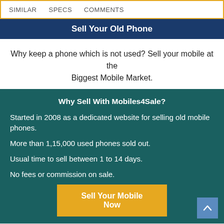SIMILAR   SPECS   COMMENTS
Sell Your Old Phone
Why keep a phone which is not used? Sell your mobile at the Biggest Mobile Market.
Why Sell With Mobiles4Sale?
Started in 2008 as a dedicated website for selling old mobile phones.
More than 1,15,000 used phones sold out.
Usual time to sell between 1 to 14 days.
No fees or commission on sale.
Sell Your Mobile Now